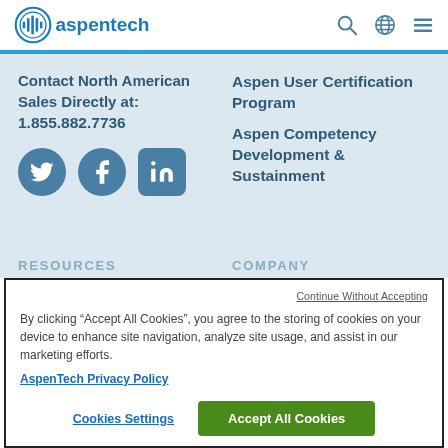AspenTech navigation bar with logo and icons
Contact North American Sales Directly at: 1.855.882.7736
[Figure (illustration): Social media icons: Twitter, Facebook, LinkedIn]
Aspen User Certification Program
Aspen Competency Development & Sustainment
RESOURCES
COMPANY
Continue Without Accepting
By clicking “Accept All Cookies”, you agree to the storing of cookies on your device to enhance site navigation, analyze site usage, and assist in our marketing efforts.
AspenTech Privacy Policy
Cookies Settings
Accept All Cookies